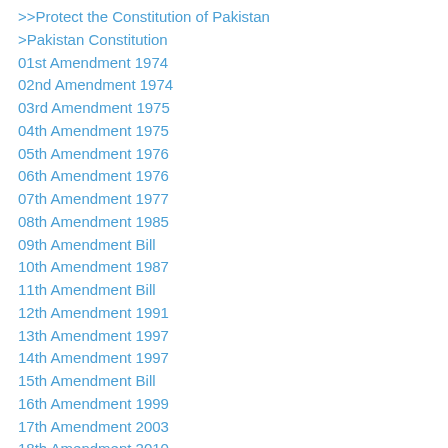>>Protect the Constitution of Pakistan
>Pakistan Constitution
01st Amendment 1974
02nd Amendment 1974
03rd Amendment 1975
04th Amendment 1975
05th Amendment 1976
06th Amendment 1976
07th Amendment 1977
08th Amendment 1985
09th Amendment Bill
10th Amendment 1987
11th Amendment Bill
12th Amendment 1991
13th Amendment 1997
14th Amendment 1997
15th Amendment Bill
16th Amendment 1999
17th Amendment 2003
18th Amendment 2010